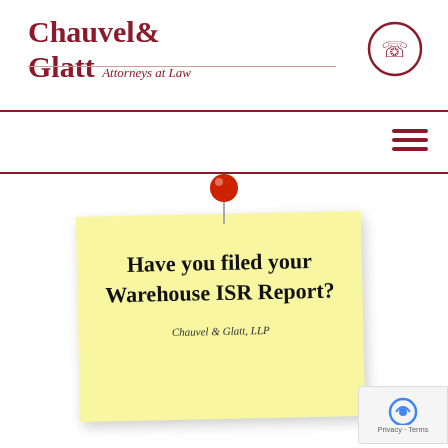Chauvel & Glatt Attorneys at Law
[Figure (logo): Chauvel & Glatt Attorneys at Law law firm logo with decorative horizontal lines]
[Figure (illustration): Phone/call icon circle outline]
[Figure (other): Hamburger navigation menu icon (three horizontal bars)]
[Figure (illustration): Yellow sticky note with red pushpin graphic containing text: Have you filed your Warehouse ISR Report? Chauvel & Glatt, LLP]
Have you filed your Warehouse ISR Report?
Chauvel & Glatt, LLP
[Figure (other): reCAPTCHA Privacy Terms badge]